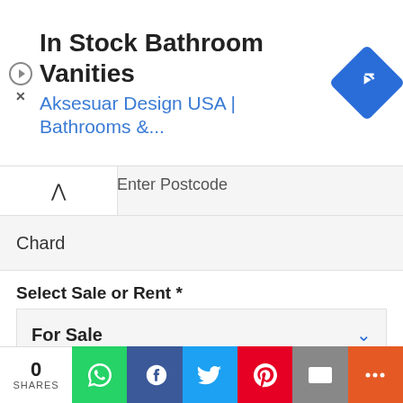[Figure (screenshot): Advertisement banner for 'In Stock Bathroom Vanities' by Aksesuar Design USA | Bathrooms &... with a blue diamond navigation icon]
Enter Postcode
Chard
Select Sale or Rent *
For Sale
Enter type of property
Detached house
Enter Price Min
Price min
Enter Price Max
[Figure (screenshot): Social share bar with 0 SHARES, WhatsApp, Facebook, Twitter, Pinterest, Email, and More buttons]